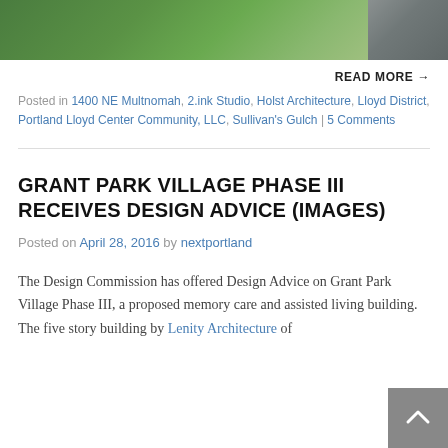[Figure (photo): Aerial photo showing green trees and a road/building rooftop]
READ MORE →
Posted in 1400 NE Multnomah, 2.ink Studio, Holst Architecture, Lloyd District, Portland Lloyd Center Community, LLC, Sullivan's Gulch | 5 Comments
GRANT PARK VILLAGE PHASE III RECEIVES DESIGN ADVICE (IMAGES)
Posted on April 28, 2016 by nextportland
The Design Commission has offered Design Advice on Grant Park Village Phase III, a proposed memory care and assisted living building. The five story building by Lenity Architecture of